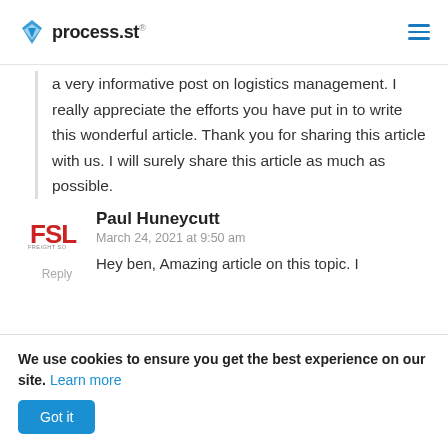process.st
a very informative post on logistics management. I really appreciate the efforts you have put in to write this wonderful article. Thank you for sharing this article with us. I will surely share this article as much as possible.
Paul Huneycutt
March 24, 2021 at 9:50 am
Reply
Hey ben, Amazing article on this topic. I
We use cookies to ensure you get the best experience on our site. Learn more
Got it